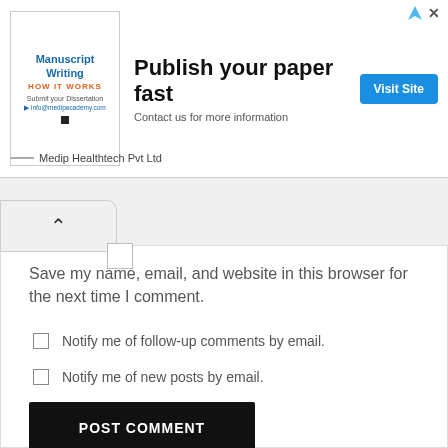[Figure (other): Advertisement banner: Manuscript Writing - HOW IT WORKS, with subtitle 'Submit your Dissertation', link 'info@medipacademy.com', and Medip Healthtech Pvt Ltd branding]
Publish your paper fast
Contact us for more information
Visit Site
Medip Healthtech Pvt Ltd
Save my name, email, and website in this browser for the next time I comment.
Notify me of follow-up comments by email.
Notify me of new posts by email.
POST COMMENT